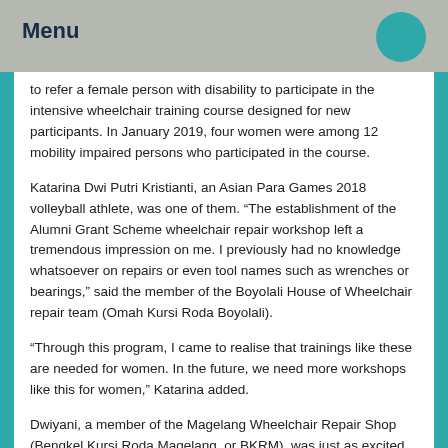Menu
to refer a female person with disability to participate in the intensive wheelchair training course designed for new participants. In January 2019, four women were among 12 mobility impaired persons who participated in the course.
Katarina Dwi Putri Kristianti, an Asian Para Games 2018 volleyball athlete, was one of them. “The establishment of the Alumni Grant Scheme wheelchair repair workshop left a tremendous impression on me. I previously had no knowledge whatsoever on repairs or even tool names such as wrenches or bearings,” said the member of the Boyolali House of Wheelchair repair team (Omah Kursi Roda Boyolali).
“Through this program, I came to realise that trainings like these are needed for women. In the future, we need more workshops like this for women,” Katarina added.
Dwiyani, a member of the Magelang Wheelchair Repair Shop (Bengkel Kursi Roda Magelang, or BKRM), was just as excited. “I think it is incredibly exciting if a woman who uses a wheelchair can also do her own repairs,” she said.